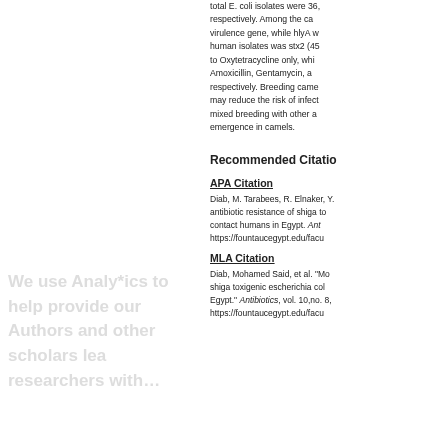total E. coli isolates were 36, respectively. Among the camel virulence gene, while hlyA w human isolates was stx2 (45 to Oxytetracycline only, whi Amoxicillin, Gentamycin, a respectively. Breeding came may reduce the risk of infect mixed breeding with other a emergence in camels.
Recommended Citation
APA Citation
Diab, M. Tarabees, R. Elnaker, Y antibiotic resistance of shiga to contact humans in Egypt. Ant https://fountaucegypt.edu/facu
MLA Citation
Diab, Mohamed Said, et al. "Mo shiga toxigenic escherichia col Egypt." Antibiotics, vol. 10,no. 8, https://fountaucegypt.edu/facu